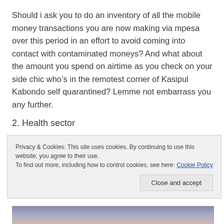Should i ask you to do an inventory of all the mobile money transactions you are now making via mpesa over this period in an effort to avoid coming into contact with contaminated moneys? And what about the amount you spend on airtime as you check on your side chic who’s in the remotest corner of Kasipul Kabondo self quarantined? Lemme not embarrass you any further.
2. Health sector
[Figure (photo): Partially visible photograph, top strip visible above cookie banner]
Privacy & Cookies: This site uses cookies. By continuing to use this website, you agree to their use.
To find out more, including how to control cookies, see here: Cookie Policy
Close and accept